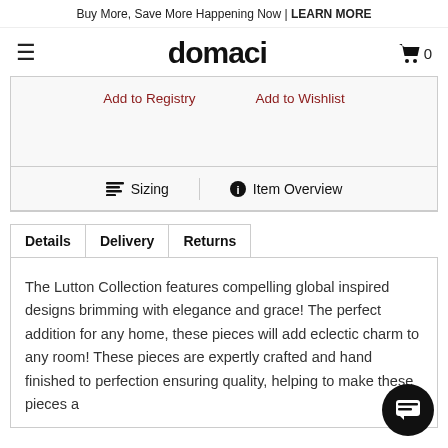Buy More, Save More Happening Now | LEARN MORE
[Figure (logo): domaci brand logo with hamburger menu icon on the left and shopping cart with 0 items on the right]
Add to Registry    Add to Wishlist
Sizing    Item Overview
Details   Delivery   Returns
The Lutton Collection features compelling global inspired designs brimming with elegance and grace! The perfect addition for any home, these pieces will add eclectic charm to any room! These pieces are expertly crafted and hand finished to perfection ensuring quality, helping to make these pieces a